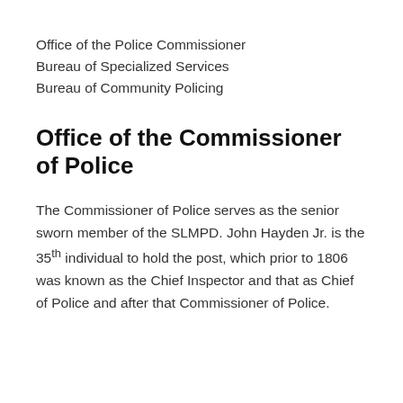Office of the Police Commissioner
Bureau of Specialized Services
Bureau of Community Policing
Office of the Commissioner of Police
The Commissioner of Police serves as the senior sworn member of the SLMPD. John Hayden Jr. is the 35th individual to hold the post, which prior to 1806 was known as the Chief Inspector and that as Chief of Police and after that Commissioner of Police.